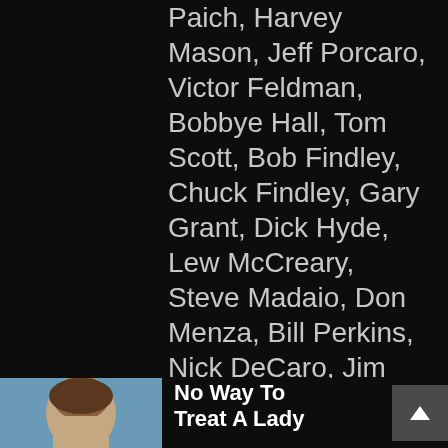Paich, Harvey Mason, Jeff Porcaro, Victor Feldman, Bobbye Hall, Tom Scott, Bob Findley, Chuck Findley, Gary Grant, Dick Hyde, Lew McCreary, Steve Madaio, Don Menza, Bill Perkins, Nick DeCaro, Jim Gilstrap, Myrna Matthews, Lisa Roberts, Oren Waters & Carolyn Willis.
[Figure (photo): Album art thumbnail showing a person with dark hair against a blue/light background]
No Way To Treat A Lady